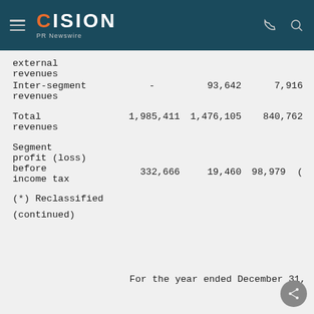CISION PR Newswire
|  |  |  |  |
| --- | --- | --- | --- |
| external revenues |  |  |  |
| Inter-segment revenues | - | 93,642 | 7,916 |
| Total revenues | 1,985,411 | 1,476,105 | 840,762 |
| Segment profit (loss) before income tax | 332,666 | 19,460 | 98,979 ( |
(*) Reclassified
(continued)
For the year ended December 31,